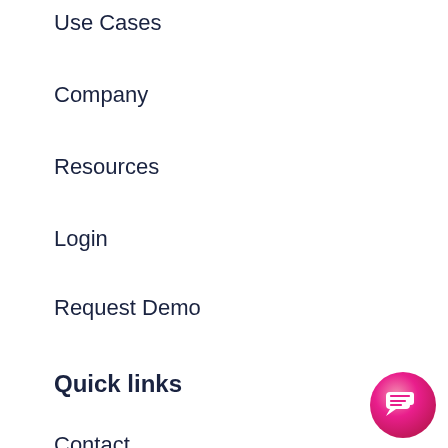Use Cases
Company
Resources
Login
Request Demo
Quick links
Contact
Privacy Policy
Imprint
Terms and conditions
[Figure (illustration): Pink/magenta circular chat support button with speech bubble icon, positioned bottom-right corner]